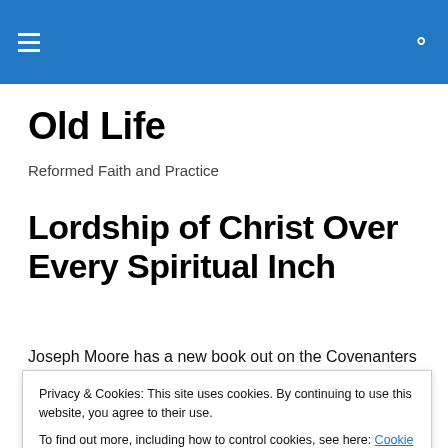Old Life — Reformed Faith and Practice (navigation bar)
Old Life
Reformed Faith and Practice
Lordship of Christ Over Every Spiritual Inch
Joseph Moore has a new book out on the Covenanters
Privacy & Cookies: This site uses cookies. By continuing to use this website, you agree to their use.
To find out more, including how to control cookies, see here: Cookie Policy
because the United States' legal provisions failed to